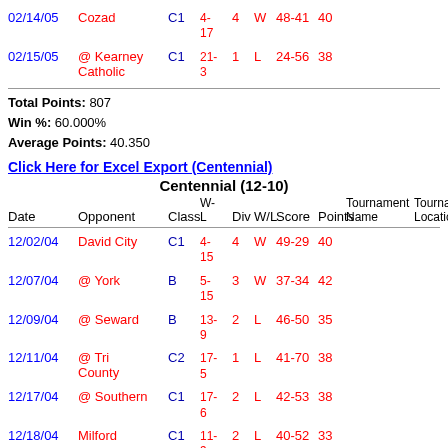| Date | Opponent | Class | W-L | Div | W/L | Score | Points | Tournament Name | Tournament Location |
| --- | --- | --- | --- | --- | --- | --- | --- | --- | --- |
| 02/14/05 | Cozad | C1 | 4-17 | 4 | W | 48-41 | 40 |  |  |
| 02/15/05 | @ Kearney Catholic | C1 | 21-3 | 1 | L | 24-56 | 38 |  |  |
Total Points: 807
Win %: 60.000%
Average Points: 40.350
Click Here for Excel Export (Centennial)
Centennial (12-10)
| Date | Opponent | Class | W-L | Div | W/L | Score | Points | Tournament Name | Tournament Location |
| --- | --- | --- | --- | --- | --- | --- | --- | --- | --- |
| 12/02/04 | David City | C1 | 4-15 | 4 | W | 49-29 | 40 |  |  |
| 12/07/04 | @ York | B | 5-15 | 3 | W | 37-34 | 42 |  |  |
| 12/09/04 | @ Seward | B | 13-9 | 2 | L | 46-50 | 35 |  |  |
| 12/11/04 | @ Tri County | C2 | 17-5 | 1 | L | 41-70 | 38 |  |  |
| 12/17/04 | @ Southern | C1 | 17-6 | 2 | L | 42-53 | 38 |  |  |
| 12/18/04 | Milford | C1 | 11-9 | 2 | L | 40-52 | 33 |  |  |
| 12/29/04 | Tri County | C2 | 17- | 1 | W | 43-36 | 50 |  |  |